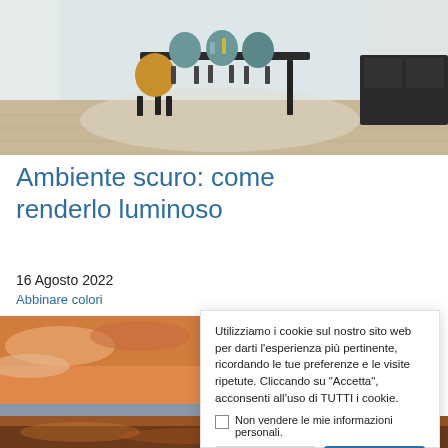[Figure (photo): Interior dining room with dark table, teal and yellow chairs, wooden floor, white curtains]
Ambiente scuro: come renderlo luminoso
16 Agosto 2022
Abbinare colori
[Figure (photo): Sunset sky with orange and pink clouds over a beach, sofa with pillows in foreground]
Utilizziamo i cookie sul nostro sito web per darti l'esperienza più pertinente, ricordando le tue preferenze e le visite ripetute. Cliccando su "Accetta", acconsenti all'uso di TUTTI i cookie.
Non vendere le mie informazioni personali.
Impostazioni Cookie
Accetta